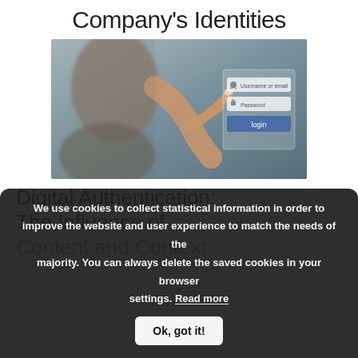Company's Identities
[Figure (photo): A person's hand touching a digital login screen with fields for 'Username or email', 'Password', and a blue 'login' button, set against a blurred background]
Digital Authentication: The Influence of
Content and Context
We use cookies to collect statistical information in order to improve the website and user experience to match the needs of the majority. You can always delete the saved cookies in your browser settings. Read more
Ok, got it!
[Figure (photo): Partial bottom photo showing a cafe/coffee scene]